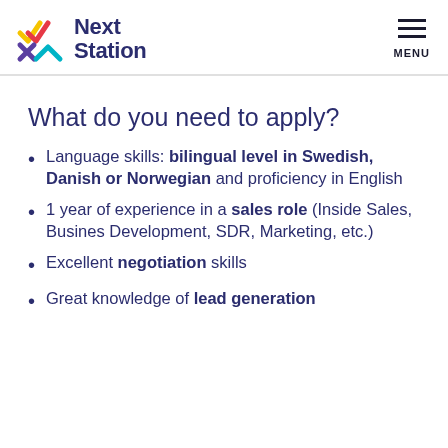Next Station | MENU
What do you need to apply?
Language skills: bilingual level in Swedish, Danish or Norwegian and proficiency in English
1 year of experience in a sales role (Inside Sales, Busines Development, SDR, Marketing, etc.)
Excellent negotiation skills
Great knowledge of lead generation